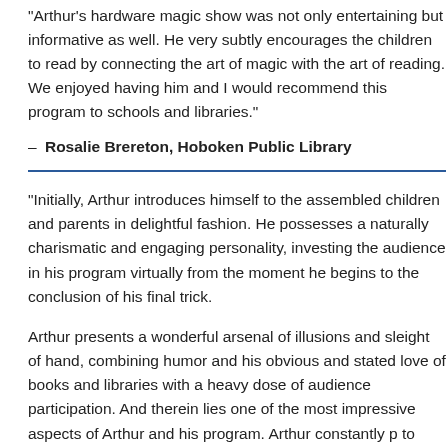“Arthur’s hardware magic show was not only entertaining but informative as well. He very subtly encourages the children to read by connecting the art of magic with the art of reading. We enjoyed having him and I would recommend this program to schools and libraries.”
– Rosalie Brereton, Hoboken Public Library
“Initially, Arthur introduces himself to the assembled children and parents in delightful fashion. He possesses a naturally charismatic and engaging personality, investing the audience in his program virtually from the moment he begins to the conclusion of his final trick.
Arthur presents a wonderful arsenal of illusions and sleight of hand, combining humor and his obvious and stated love of books and libraries with a heavy dose of audience participation. And therein lies one of the most impressive aspects of Arthur and his program. Arthur constantly p... to titles that he requests be pre-prepared, and inform... children that a world of magic and wonder can be foun...